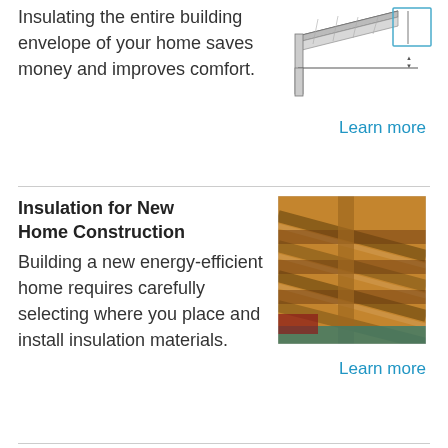Insulating the entire building envelope of your home saves money and improves comfort.
[Figure (engineering-diagram): Technical cross-section diagram of building insulation at eave/roof junction]
Learn more
Insulation for New Home Construction
Building a new energy-efficient home requires carefully selecting where you place and install insulation materials.
[Figure (photo): Photo of wood framing/rafters in a new home construction showing exposed insulation]
Learn more